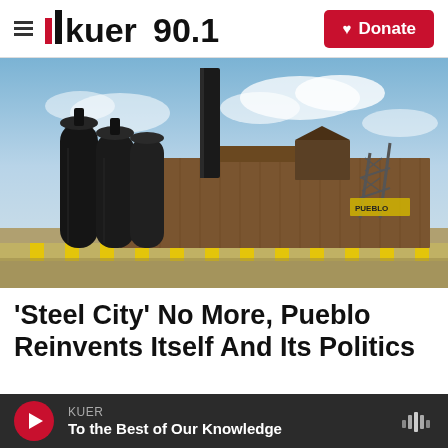likuer 90.1 | Donate
[Figure (photo): Photograph of an abandoned steel mill / industrial factory with large black cylindrical silos and a rusted corrugated metal building under a partly cloudy blue sky]
'Steel City' No More, Pueblo Reinvents Itself And Its Politics
KUER | To the Best of Our Knowledge